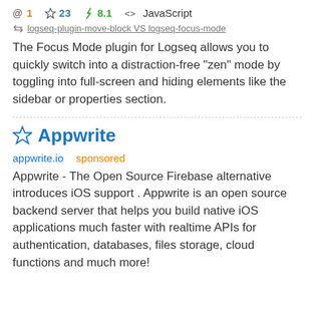@ 1  ☆ 23  ⚡ 8.1  <> JavaScript
logseq-plugin-move-block VS logseq-focus-mode
The Focus Mode plugin for Logseq allows you to quickly switch into a distraction-free "zen" mode by toggling into full-screen and hiding elements like the sidebar or properties section.
☆ Appwrite
appwrite.io   sponsored
Appwrite - The Open Source Firebase alternative introduces iOS support . Appwrite is an open source backend server that helps you build native iOS applications much faster with realtime APIs for authentication, databases, files storage, cloud functions and much more!